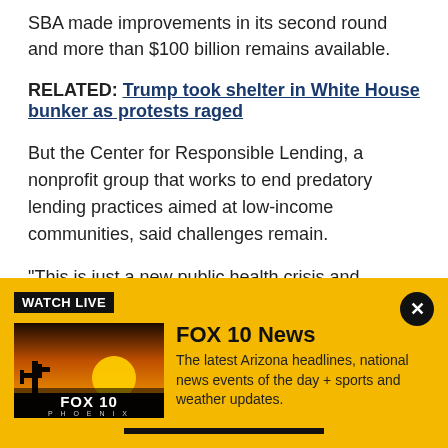SBA made improvements in its second round and more than $100 billion remains available.
RELATED: Trump took shelter in White House bunker as protests raged
But the Center for Responsible Lending, a nonprofit group that works to end predatory lending practices aimed at low-income communities, said challenges remain.
“This is just a new public health crisis and economic
[Figure (screenshot): FOX 10 News Watch Live banner with FOX 10 Phoenix logo image thumbnail and text: 'The latest Arizona headlines, national news events of the day + sports and weather updates.']